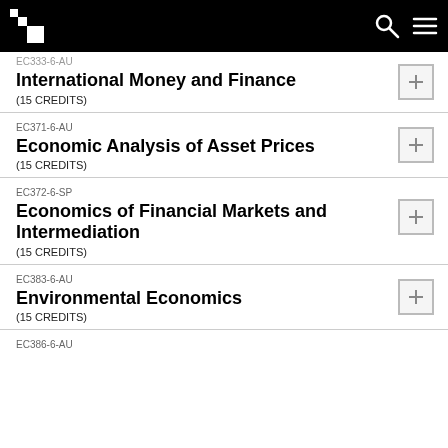EC333-6-AU
International Money and Finance
(15 CREDITS)
EC371-6-AU
Economic Analysis of Asset Prices
(15 CREDITS)
EC372-6-SP
Economics of Financial Markets and Intermediation
(15 CREDITS)
EC383-6-AU
Environmental Economics
(15 CREDITS)
EC386-6-AU